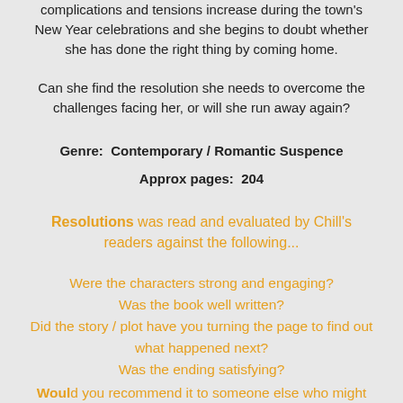complications and tensions increase during the town's New Year celebrations and she begins to doubt whether she has done the right thing by coming home.
Can she find the resolution she needs to overcome the challenges facing her, or will she run away again?
Genre:  Contemporary / Romantic Suspence
Approx pages:  204
Resolutions was read and evaluated by Chill's readers against the following...
Were the characters strong and engaging?
Was the book well written?
Did the story / plot have you turning the page to find out what happened next?
Was the ending satisfying?
Would you recommend it to someone else who might think...